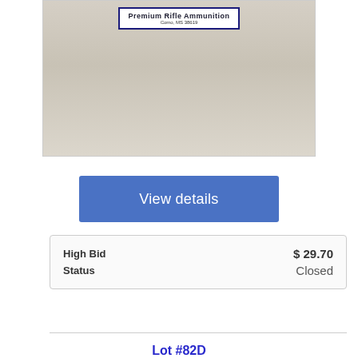[Figure (photo): Photo of a Premium Rifle Ammunition box (Conley Precision, Como, MS 38619) on a beige/tan surface]
View details
| High Bid | $ 29.70 |
| Status | Closed |
Lot #82D
Conley Pecision .30-06 SPRG 180 grain Barnes XLC - 13 ro…
[Figure (photo): Photo showing blue-tipped rifle bullets/ammunition standing upright on a tan surface]